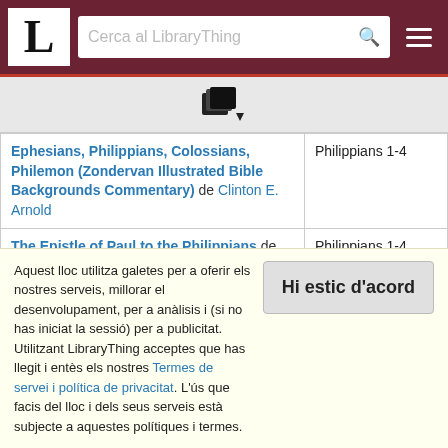LibraryThing - Cerca al LibraryThing
[Figure (icon): Books/documents icon with dropdown arrow]
| Book title and author | Bible reference |
| --- | --- |
| Ephesians, Philippians, Colossians, Philemon (Zondervan Illustrated Bible Backgrounds Commentary) de Clinton E. Arnold | Philippians 1-4 |
| The Epistle of Paul to the Philippians de Ralph P. Martin | Philippians 1-4 |
| The Expositor's Bible Commentary (Volume 9) - John and Acts de Frank E. Gaebelein | Acts 16:11-15 |
| The Expositor's Bible Commentary - Acts de | Acts 16:11- |
Aquest lloc utilitza galetes per a oferir els nostres serveis, millorar el desenvolupament, per a anàlisis i (si no has iniciat la sessió) per a publicitat. Utilitzant LibraryThing acceptes que has llegit i entès els nostres Termes de servei i política de privacitat. L'ús que facis del lloc i dels seus serveis està subjecte a aquestes polítiques i termes.